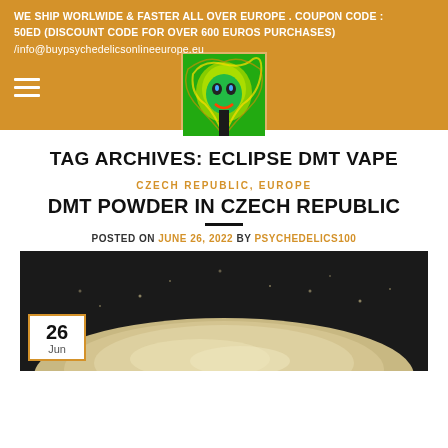WE SHIP WORLWIDE & FASTER ALL OVER EUROPE . COUPON CODE : 50ED (discount code for over 600 euros purchases) /info@buypsychedelicsonlineeurope.eu
[Figure (photo): Psychedelic colorful skull logo image in header]
TAG ARCHIVES: ECLIPSE DMT VAPE
CZECH REPUBLIC, EUROPE
DMT POWDER IN CZECH REPUBLIC
POSTED ON JUNE 26, 2022 BY PSYCHEDELICS100
[Figure (photo): Pile of white/cream colored powder on dark background with date badge showing 26 Jun in bottom left corner]